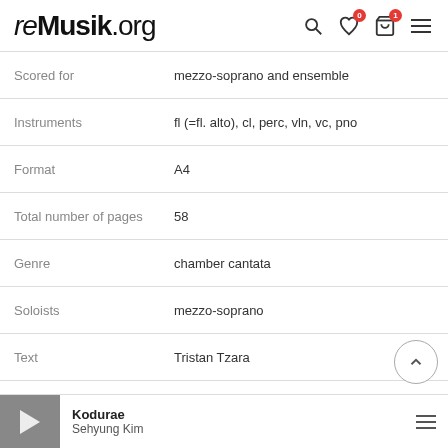reMusik.org
| Field | Value |
| --- | --- |
| Scored for | mezzo-soprano and ensemble |
| Instruments | fl (=fl. alto), cl, perc, vln, vc, pno |
| Format | A4 |
| Total number of pages | 58 |
| Genre | chamber cantata |
| Soloists | mezzo-soprano |
| Text | Tristan Tzara |
| Duration | 18' |
| Number of parts | 5 |
Kodurae — Sehyung Kim